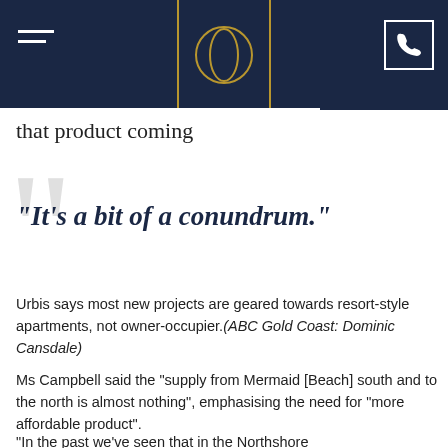that product coming
that product coming
“It’s a bit of a conundrum.”
Urbis says most new projects are geared towards resort-style apartments, not owner-occupier.(ABC Gold Coast: Dominic Cansdale)
Ms Campbell said the “supply from Mermaid [Beach] south and to the north is almost nothing”, emphasising the need for “more affordable product”.
“In the past we’ve seen that in the Northshore